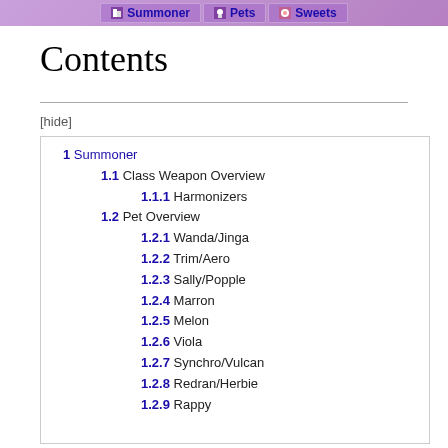Summoner | Pets | Sweets
Contents
[hide]
1 Summoner
1.1 Class Weapon Overview
1.1.1 Harmonizers
1.2 Pet Overview
1.2.1 Wanda/Jinga
1.2.2 Trim/Aero
1.2.3 Sally/Popple
1.2.4 Marron
1.2.5 Melon
1.2.6 Viola
1.2.7 Synchro/Vulcan
1.2.8 Redran/Herbie
1.2.9 Rappy